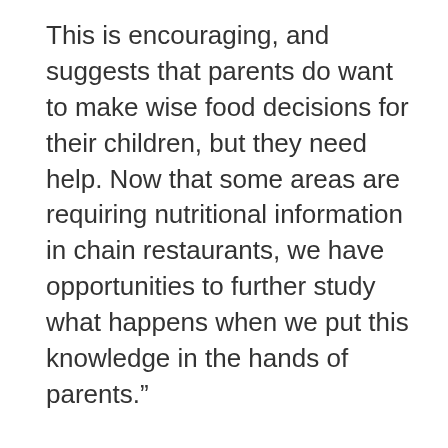This is encouraging, and suggests that parents do want to make wise food decisions for their children, but they need help. Now that some areas are requiring nutritional information in chain restaurants, we have opportunities to further study what happens when we put this knowledge in the hands of parents.”
There was no correlation between the families’ typical frequency of fast food dining and calories selected, for either parents or children.
A growing number of jurisdictions across the country have begun mandating that nutritional information be readily available at point-of-ordering in chain restaurants. Currently more than 30 localities or states are considering policies that would require calories and other nutrition information to be clearly visible-four have already